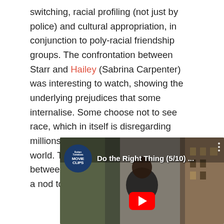switching, racial profiling (not just by police) and cultural appropriation, in conjunction to poly-racial friendship groups. The confrontation between Starr and Hailey (Sabrina Carpenter) was interesting to watch, showing the underlying prejudices that some internalise. Some choose not to see race, which in itself is disregarding millions of people's experiences of the world. There's one scene in particular between these characters which felt like a nod to Do the Right the Thing.
[Figure (screenshot): YouTube video embed showing 'Do the Right Thing (5/10) ...' with Rotten Tomatoes Movie Clips badge on the left, a person visible in the video frame, and a red YouTube play button in the center.]